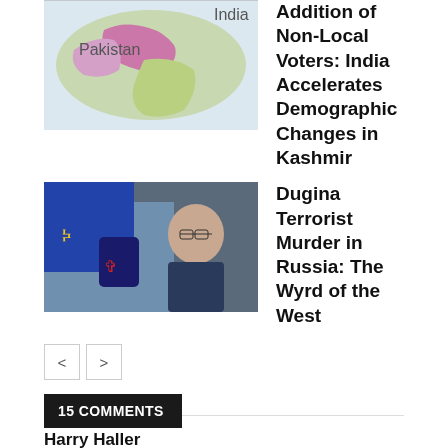[Figure (map): Map showing Kashmir region with colored regions (pink/purple indicating disputed territory), labeled 'World']
Addition of Non-Local Voters: India Accelerates Demographic Changes in Kashmir
[Figure (photo): Photo of a woman with glasses against a background with Ukrainian trident symbol, labeled 'World']
Dugina Terrorist Murder in Russia: The Wyrd of the West
< >
15 COMMENTS
Harry Haller
September 18, 2020 at 9:55 pm
When you look you can see the evil, hidden in plain sight.
Christina Claire
September 14, 2020 at 9:25 pm